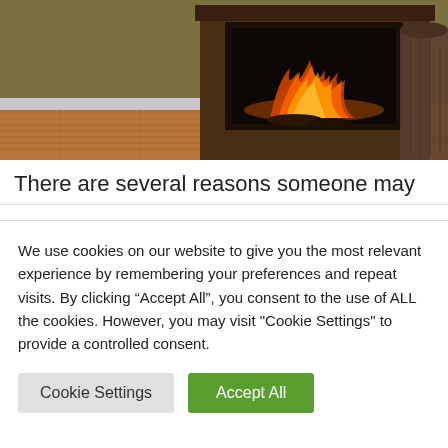[Figure (photo): Photo of an electric fireplace with dark wood surround on a hardwood floor, with olive/tan wall and a decorative vase to the right.]
There are several reasons someone may
We use cookies on our website to give you the most relevant experience by remembering your preferences and repeat visits. By clicking “Accept All”, you consent to the use of ALL the cookies. However, you may visit "Cookie Settings" to provide a controlled consent.